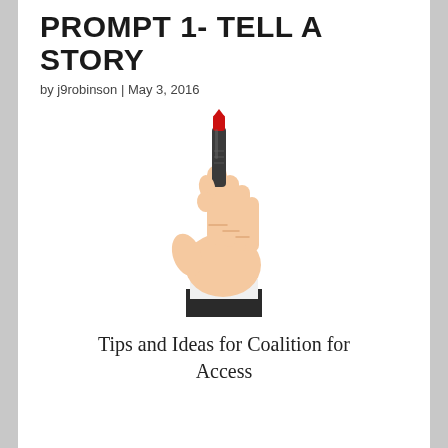Prompt 1- Tell a Story
by j9robinson | May 3, 2016
[Figure (photo): A hand holding a red marker pen, as if writing on a whiteboard or glass surface, white background.]
Tips and Ideas for Coalition for Access